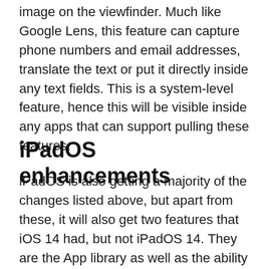image on the viewfinder. Much like Google Lens, this feature can capture phone numbers and email addresses, translate the text or put it directly inside any text fields. This is a system-level feature, hence this will be visible inside any apps that can support pulling these features.
iPadOS enhancements
iPadOS is also getting a majority of the changes listed above, but apart from these, it will also get two features that iOS 14 had, but not iPadOS 14. They are the App library as well as the ability to add widgets on the home